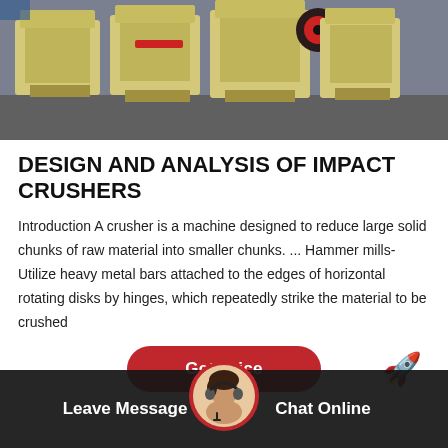[Figure (photo): Photo of multiple large yellow industrial impact crusher machines lined up outdoors on a concrete surface]
DESIGN AND ANALYSIS OF IMPACT CRUSHERS
Introduction A crusher is a machine designed to reduce large solid chunks of raw material into smaller chunks. ... Hammer mills- Utilize heavy metal bars attached to the edges of horizontal rotating disks by hinges, which repeatedly strike the material to be crushed
[Figure (other): Red 'Get Price' button with rounded corners, and a rocket emoji icon to the right]
Leave Message   Chat Online